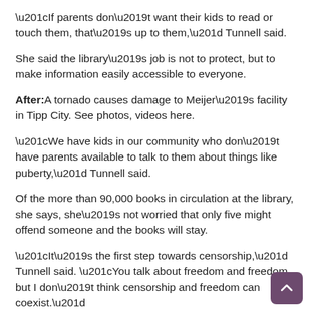“If parents don’t want their kids to read or touch them, that’s up to them,” Tunnell said.
She said the library’s job is not to protect, but to make information easily accessible to everyone.
After: A tornado causes damage to Meijer’s facility in Tipp City. See photos, videos here.
“We have kids in our community who don’t have parents available to talk to them about things like puberty,” Tunnell said.
Of the more than 90,000 books in circulation at the library, she says, she’s not worried that only five might offend someone and the books will stay.
“It’s the first step towards censorship,” Tunnell said. “You talk about freedom and freedom, but I don’t think censorship and freedom can coexist.”
Contact Zach at 419-564-3508 or ztuggle@gannett.com